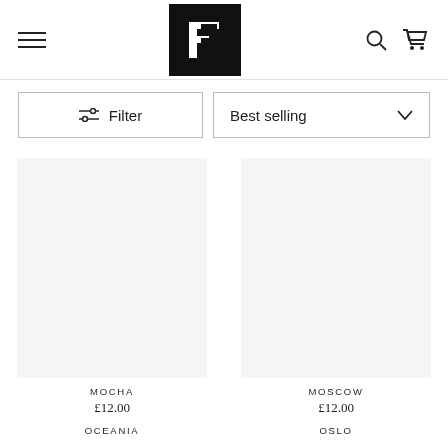F logo header with hamburger menu, search and cart icons
Filter | Best selling
MOCHA £12.00
MOSCOW £12.00
OCEANIA
OSLO